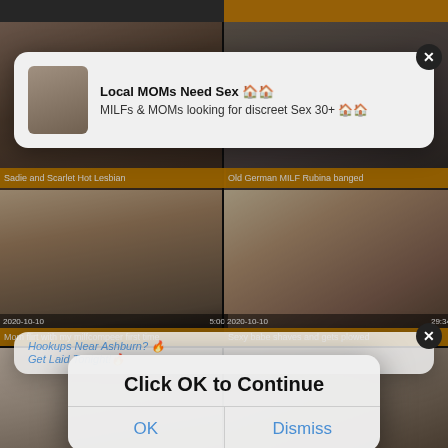[Figure (screenshot): Video thumbnail grid showing adult video website with multiple video thumbnails, overlaid by popup notifications and an iOS-style dialog box saying 'Click OK to Continue' with OK and Dismiss buttons]
Sadie and Scarlet Hot Lesbian
Old German MILF Rubina banged
Local MOMs Need Sex 🏠🏠
MILFs & MOMs looking for discreet Sex 30+ 🏠🏠
Hookups Near Ashburn? 🔥
Get Laid Tonight!🔥
Click OK to Continue
OK
Dismiss
2020-10-10    5:00
Mom flirt with my milfcompeer first time
2020-10-10    29:34
Sexy babe shaves and gets plowed